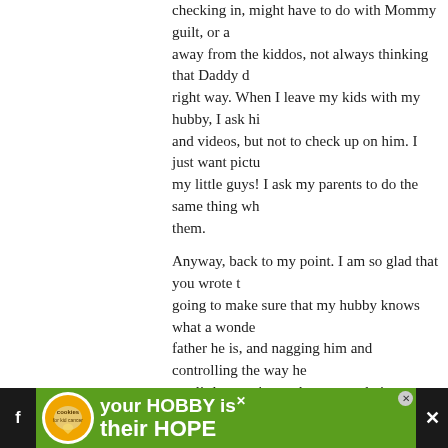checking in, might have to do with Mommy guilt, or away from the kiddos, not always thinking that Daddy does it the right way. When I leave my kids with my hubby, I ask him for pics and videos, but not to check up on him. I just want pictures of my little guys! I ask my parents to do the same thing when I leave them.
Anyway, back to my point. I am so glad that you wrote this. I am going to make sure that my hubby knows what a wonderful father he is, and nagging him and controlling the way he cares for our little ones is not the way to do it.
So, thank you Papa Spohr! My husband thanks you too!
ps. You need to help me come up with a new name for m
> Reply
47. Literary Feline says:
AUGUST 11TH, 2011 AT 10:18 PM
I share your wonderful post with my husband and he sa sympathized, he is glad our relationship isn't like that. W
[Figure (other): Advertisement banner: cookies for kid cancer, your HOBBY is their HOPE]